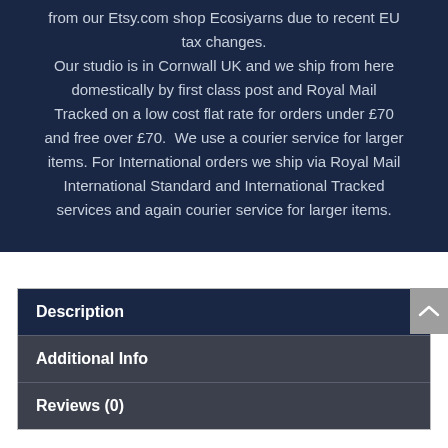from our Etsy.com shop Ecosiyarns due to recent EU tax changes. Our studio is in Cornwall UK and we ship from here domestically by first class post and Royal Mail Tracked on a low cost flat rate for orders under £70 and free over £70. We use a courier service for larger items. For International orders we ship via Royal Mail International Standard and International Tracked services and again courier service for larger items.
Description
Additional Info
Reviews (0)